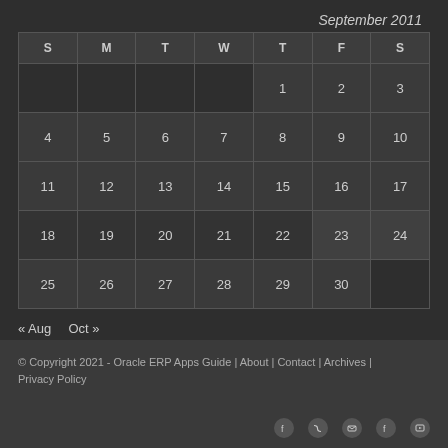September 2011
| S | M | T | W | T | F | S |
| --- | --- | --- | --- | --- | --- | --- |
|  |  |  |  | 1 | 2 | 3 |
| 4 | 5 | 6 | 7 | 8 | 9 | 10 |
| 11 | 12 | 13 | 14 | 15 | 16 | 17 |
| 18 | 19 | 20 | 21 | 22 | 23 | 24 |
| 25 | 26 | 27 | 28 | 29 | 30 |  |
« Aug   Oct »
© Copyright 2021 - Oracle ERP Apps Guide | About | Contact | Archives | Privacy Policy